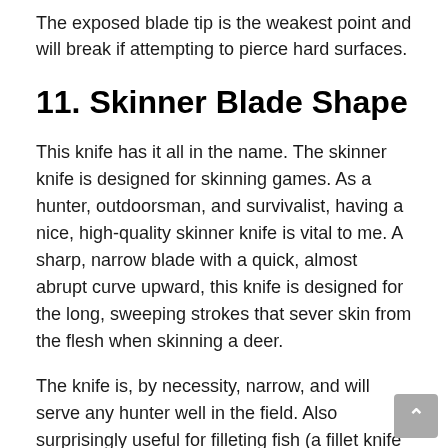The exposed blade tip is the weakest point and will break if attempting to pierce hard surfaces.
11. Skinner Blade Shape
This knife has it all in the name. The skinner knife is designed for skinning games. As a hunter, outdoorsman, and survivalist, having a nice, high-quality skinner knife is vital to me. A sharp, narrow blade with a quick, almost abrupt curve upward, this knife is designed for the long, sweeping strokes that sever skin from the flesh when skinning a deer.
The knife is, by necessity, narrow, and will serve any hunter well in the field. Also surprisingly useful for filleting fish (a fillet knife is better, but you can't have everything), the skinner knife earns a well-